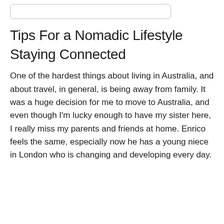[Figure (other): Search box / input field outline at top of page]
Tips For a Nomadic Lifestyle
Staying Connected
One of the hardest things about living in Australia, and about travel, in general, is being away from family. It was a huge decision for me to move to Australia, and even though I'm lucky enough to have my sister here, I really miss my parents and friends at home. Enrico feels the same, especially now he has a young niece in London who is changing and developing every day.